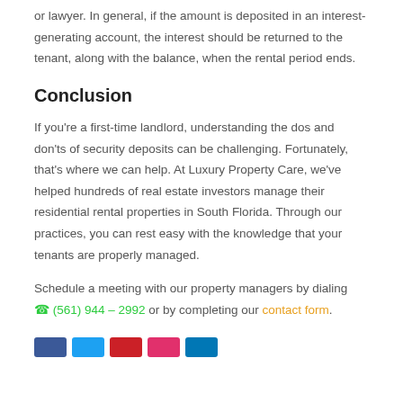or lawyer. In general, if the amount is deposited in an interest-generating account, the interest should be returned to the tenant, along with the balance, when the rental period ends.
Conclusion
If you're a first-time landlord, understanding the dos and don'ts of security deposits can be challenging. Fortunately, that's where we can help. At Luxury Property Care, we've helped hundreds of real estate investors manage their residential rental properties in South Florida. Through our practices, you can rest easy with the knowledge that your tenants are properly managed.
Schedule a meeting with our property managers by dialing ☎ (561) 944 – 2992 or by completing our contact form.
[Figure (other): Row of social media share buttons in blue, light blue, red, pink/red, and blue colors at the bottom of the page.]